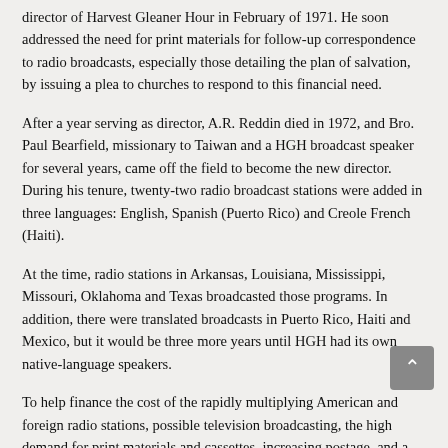director of Harvest Gleaner Hour in February of 1971. He soon addressed the need for print materials for follow-up correspondence to radio broadcasts, especially those detailing the plan of salvation, by issuing a plea to churches to respond to this financial need.
After a year serving as director, A.R. Reddin died in 1972, and Bro. Paul Bearfield, missionary to Taiwan and a HGH broadcast speaker for several years, came off the field to become the new director. During his tenure, twenty-two radio broadcast stations were added in three languages: English, Spanish (Puerto Rico) and Creole French (Haiti).
At the time, radio stations in Arkansas, Louisiana, Mississippi, Missouri, Oklahoma and Texas broadcasted those programs. In addition, there were translated broadcasts in Puerto Rico, Haiti and Mexico, but it would be three more years until HGH had its own native-language speakers.
To help finance the cost of the rapidly multiplying American and foreign radio stations, possible television broadcasting, the high demand for print materials and cassettes, increasing postage, and a new building, Bro. Bearfield traveled extensively to speak to churches and groups.
In June of 1975, with the intent to some day include television broadcasting, Harvest Gleaner Hour staff moved into a building...